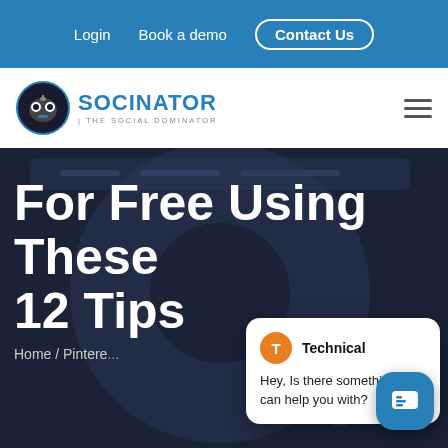Login  Book a demo  Contact Us
[Figure (logo): Socinator - The Social Dominator logo with robot icon]
For Free Using These 12 Tips
Home / Pintere...
[Figure (screenshot): Chat popup widget with Technical agent saying: Hey, Is there something we can help you with?]